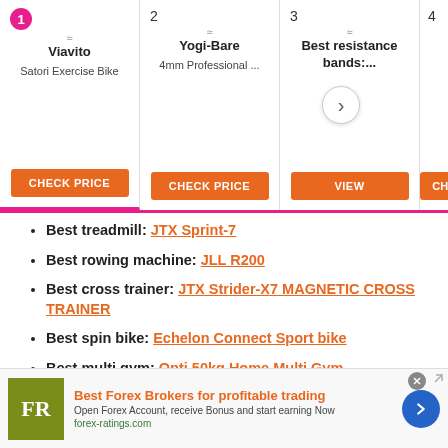[Figure (screenshot): Product carousel with 4 items: 1) Viavito Satori Exercise Bike - CHECK PRICE button, 2) Yogi-Bare 4mm Professional... - CHECK PRICE button, 3) Best resistance bands:... - VIEW button, 4) JTX Sprint-7 (partial) - CHECK PR... button. Navigation arrow visible between items 3 and 4.]
Best treadmill: JTX Sprint-7
Best rowing machine: JLL R200
Best cross trainer: JTX Strider-X7 MAGNETIC CROSS TRAINER
Best spin bike: Echelon Connect Sport bike
Best multi gym: Opti 50kg Home Multi Gym
WHAT ARE THE BEST SMALLER HOME GYM BUYS?
[Figure (screenshot): Advertisement banner: FR logo (olive green background), Best Forex Brokers for profitable trading, Open Forex Account, receive Bonus and start earning Now. forex-ratings.com. Blue circle arrow button on right. Close X button and external link icon top right.]